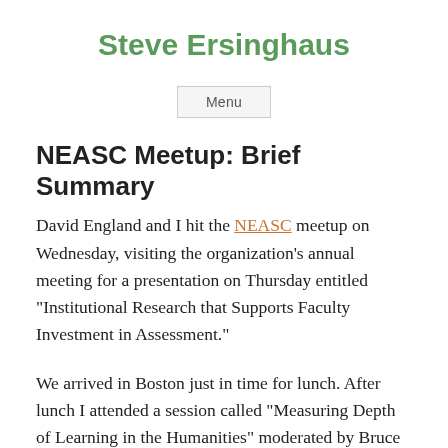Steve Ersinghaus
Menu
NEASC Meetup: Brief Summary
David England and I hit the NEASC meetup on Wednesday, visiting the organization’s annual meeting for a presentation on Thursday entitled “Institutional Research that Supports Faculty Investment in Assessment.”
We arrived in Boston just in time for lunch. After lunch I attended a session called “Measuring Depth of Learning in the Humanities” moderated by Bruce Mallory, CIHE Commissioner. The presenters included Orin L. Grossman, Academic Vice President, Fairfield University, Fairfield, CT;